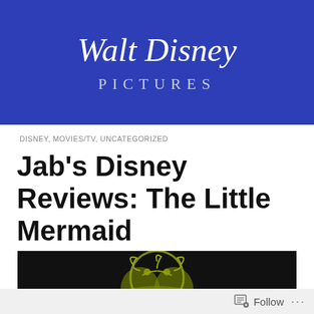[Figure (logo): Walt Disney Pictures logo on blue background with stylized script text 'Walt Disney' above 'PICTURES' in spaced serif letters]
DISNEY, MOVIES/TV, UNCATEGORIZED
Jab's Disney Reviews: The Little Mermaid
[Figure (photo): Dark image showing a gold/yellow illustrated villain character (Ursula) outline on black background]
Follow